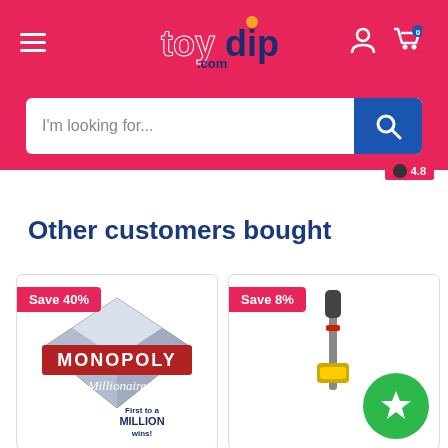[Figure (screenshot): ToyDip.com e-commerce website header with pink background, logo, hamburger menu, user icon, cart icon with 0 badge, and search bar reading 'I'm looking for...']
Other customers bought
[Figure (photo): Product card for Monopoly Millionaire board game with 'Save 40%' badge. Box shows diamond graphic with text 'MONOPOLY Millionaire - First to a MILLION wins!']
[Figure (photo): Product card for Dyson vacuum cleaner with 'Save 8%' badge and green circle with star icon overlay]